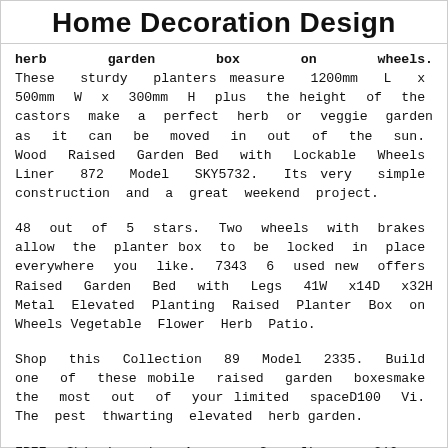Home Decoration Design
herb garden box on wheels. These sturdy planters measure 1200mm L x 500mm W x 300mm H plus the height of the castors make a perfect herb or veggie garden as it can be moved in out of the sun. Wood Raised Garden Bed with Lockable Wheels Liner 872 Model SKY5732. Its very simple construction and a great weekend project.
48 out of 5 stars. Two wheels with brakes allow the planter box to be locked in place everywhere you like. 7343 6 used new offers Raised Garden Bed with Legs 41W x14D x32H Metal Elevated Planting Raised Planter Box on Wheels Vegetable Flower Herb Patio.
Shop this Collection 89 Model 2335. Build one of these mobile raised garden boxesmake the most out of your limited spaceD100 Vi. The pest thwarting elevated herb garden.
FREE Shipping by Amazon. Greenfingers 210 x 90 x 30cm